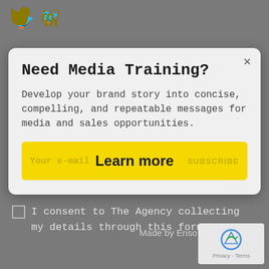[Figure (logo): Twitter bird icon (yellow/olive color) and LinkedIn 'in' icon (yellow/olive color) as social media icons]
Need Media Training?
Develop your brand story into concise, compelling, and repeatable messages for media and sales opportunities.
Learn more
I consent to The Agency collecting my details through this form.
Made by Enso